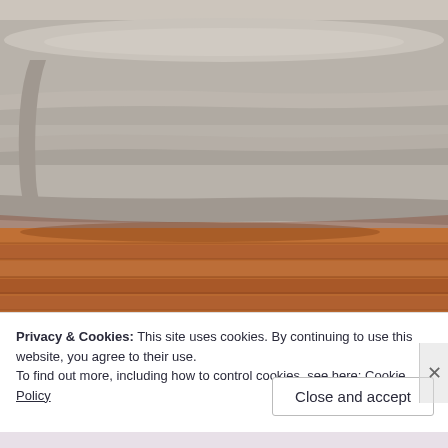[Figure (photo): A photograph showing folded grey/beige bed linens or fabric stacked on a wooden floor. The fabric appears to be folded flat sheets or a comforter with visible fold lines. Below the fabric is a warm-toned wood plank floor.]
Privacy & Cookies: This site uses cookies. By continuing to use this website, you agree to their use.
To find out more, including how to control cookies, see here: Cookie Policy